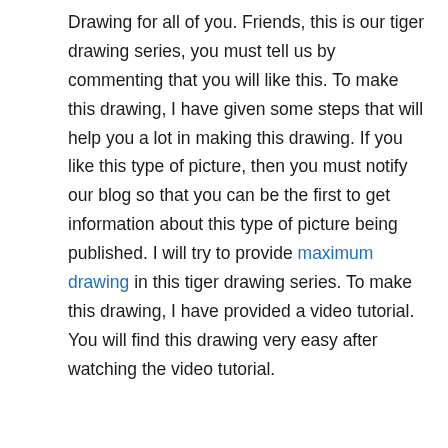Drawing for all of you. Friends, this is our tiger drawing series, you must tell us by commenting that you will like this. To make this drawing, I have given some steps that will help you a lot in making this drawing. If you like this type of picture, then you must notify our blog so that you can be the first to get information about this type of picture being published. I will try to provide maximum drawing in this tiger drawing series. To make this drawing, I have provided a video tutorial. You will find this drawing very easy after watching the video tutorial.